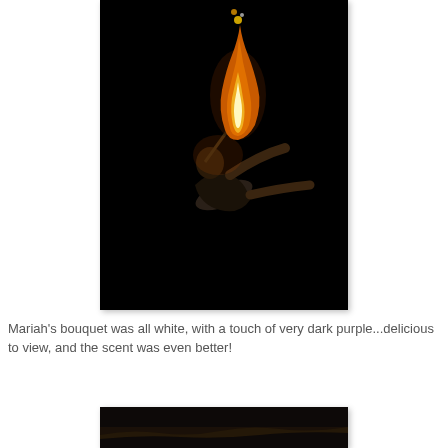[Figure (photo): A fire eater/breather performer leaning back against a dark black background, with flames rising from their mouth upward. The performer is captured in a dramatic pose with arms outstretched.]
Mariah's bouquet was all white, with a touch of very dark purple...delicious to view, and the scent was even better!
[Figure (photo): Partial view of another dark nighttime photograph at the bottom of the page, appearing to show a rocky or landscape scene.]